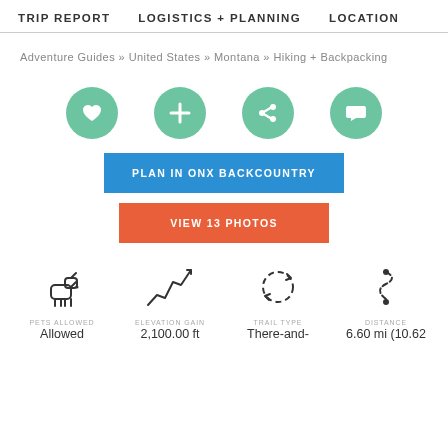TRIP REPORT   LOGISTICS + PLANNING   LOCATION
Adventure Guides » United States » Montana » Hiking + Backpacking
[Figure (infographic): Four green circular icon buttons: heart (favorite), plus (add), share, comment]
PLAN IN ONX BACKCOUNTRY
VIEW 13 PHOTOS
[Figure (infographic): Four trail stat icons: dog (Pets Allowed), elevation zigzag (Elevation Gain), circular arrows (Trail Type), dashed path (Distance)]
PETS ALLOWED
Allowed
ELEVATION GAIN
2,100.00 ft
TRAIL TYPE
There-and-
DISTANCE
6.60 mi (10.62